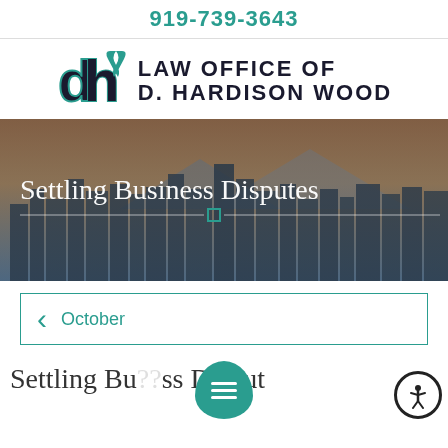919-739-3643
[Figure (logo): Law Office of D. Hardison Wood logo with stylized DHW monogram and teal ribbon]
[Figure (photo): City skyline hero banner with text overlay 'Settling Business Disputes' and decorative teal divider]
October
Settling Business Disputes